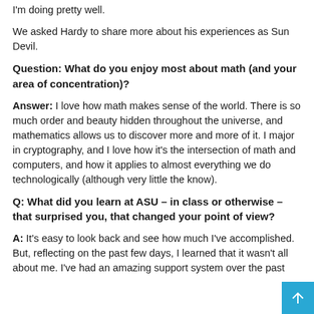I'm doing pretty well.
We asked Hardy to share more about his experiences as Sun Devil.
Question: What do you enjoy most about math (and your area of concentration)?
Answer: I love how math makes sense of the world. There is so much order and beauty hidden throughout the universe, and mathematics allows us to discover more and more of it. I major in cryptography, and I love how it's the intersection of math and computers, and how it applies to almost everything we do technologically (although very little the know).
Q: What did you learn at ASU – in class or otherwise – that surprised you, that changed your point of view?
A: It's easy to look back and see how much I've accomplished. But, reflecting on the past few days, I learned that it wasn't all about me. I've had an amazing support system over the past